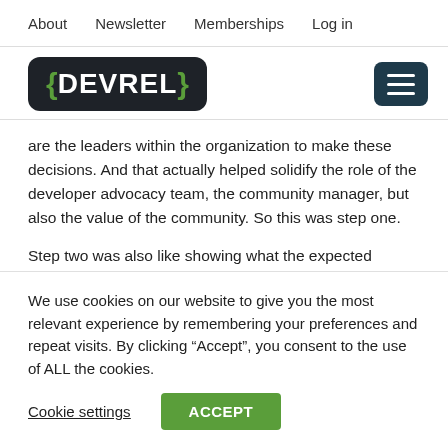About   Newsletter   Memberships   Log in
[Figure (logo): DEVREL logo in dark box with hamburger menu icon]
are the leaders within the organization to make these decisions. And that actually helped solidify the role of the developer advocacy team, the community manager, but also the value of the community. So this was step one.

Step two was also like showing what the expected results were. So I've just listed some of the KPIs there. Again,
We use cookies on our website to give you the most relevant experience by remembering your preferences and repeat visits. By clicking “Accept”, you consent to the use of ALL the cookies.
Cookie settings   ACCEPT